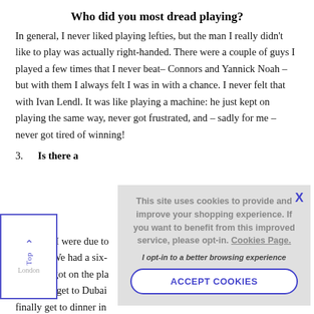Who did you most dread playing?
In general, I never liked playing lefties, but the man I really didn't like to play was actually right-handed. There were a couple of guys I played a few times that I never beat– Connors and Yannick Noah – but with them I always felt I was in with a chance. I never felt that with Ivan Lendl. It was like playing a machine: he just kept on playing the same way, never got frustrated, and – sadly for me – never got tired of winning!
3. Is there a...
Mats and I were due to... London. We had a six-... Then we got on the pla... When we get to Dubai... finally get to dinner in... table. So I decide to leave him until we need to order, and all of a sudden
[Figure (screenshot): Cookie consent overlay with gray background. Text reads: 'This site uses cookies to provide and improve your shopping experience. If you want to benefit from this improved service, please opt-in. Cookies Page.' Below: 'I opt-in to a better browsing experience'. Button: 'ACCEPT COOKIES'. X close button top right.]